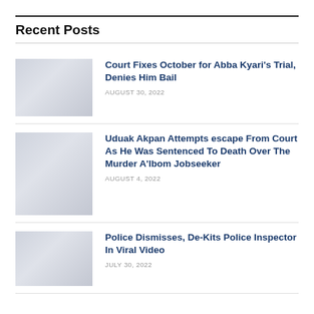Recent Posts
[Figure (photo): Thumbnail image for Court Fixes October for Abba Kyari's Trial article]
Court Fixes October for Abba Kyari's Trial, Denies Him Bail
AUGUST 30, 2022
[Figure (photo): Thumbnail image for Uduak Akpan Attempts escape article]
Uduak Akpan Attempts escape From Court As He Was Sentenced To Death Over The Murder A'lbom Jobseeker
AUGUST 4, 2022
[Figure (photo): Thumbnail image for Police Dismisses article]
Police Dismisses, De-Kits Police Inspector In Viral Video
JULY 30, 2022